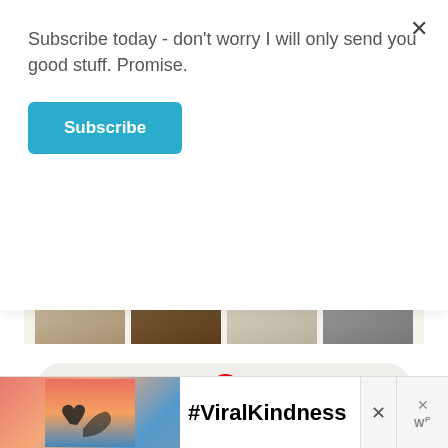Subscribe today - don't worry I will only send you good stuff. Promise.
Subscribe
[Figure (screenshot): Partial Pinterest widget showing image thumbnails and a 'Follow On Pinterest' pill button]
Follow On Pinterest
MENU
Categories
[Figure (infographic): Advertisement banner showing hands making a heart shape against a sunset sky with '#ViralKindness' text]